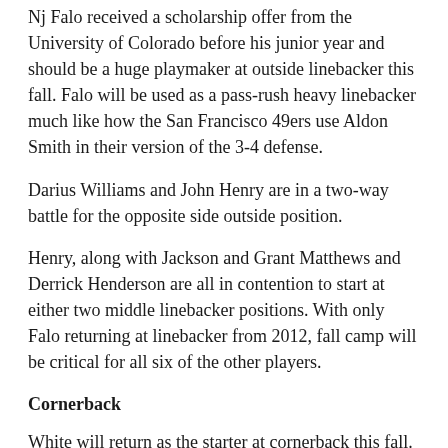Nj Falo received a scholarship offer from the University of Colorado before his junior year and should be a huge playmaker at outside linebacker this fall. Falo will be used as a pass-rush heavy linebacker much like how the San Francisco 49ers use Aldon Smith in their version of the 3-4 defense.
Darius Williams and John Henry are in a two-way battle for the opposite side outside position.
Henry, along with Jackson and Grant Matthews and Derrick Henderson are all in contention to start at either two middle linebacker positions. With only Falo returning at linebacker from 2012, fall camp will be critical for all six of the other players.
Cornerback
White will return as the starter at cornerback this fall. Coaches also project Wilkerson and Franklin (neither played for Inderkum in 2012) to battle for the other starting position.
With a defensive secondary that might be the most talented and deepest group on the team, there will be a lot of rotation between players at cornerback and safety.